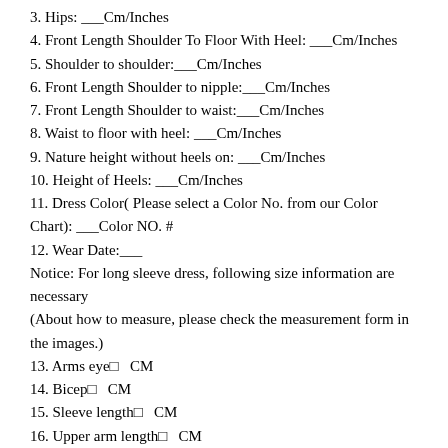3. Hips: ___Cm/Inches
4. Front Length Shoulder To Floor With Heel: ___Cm/Inches
5. Shoulder to shoulder:___Cm/Inches
6. Front Length Shoulder to nipple:___Cm/Inches
7. Front Length Shoulder to waist:___Cm/Inches
8. Waist to floor with heel: ___Cm/Inches
9. Nature height without heels on: ___Cm/Inches
10. Height of Heels: ___Cm/Inches
11. Dress Color( Please select a Color No. from our Color Chart): ___Color NO. #
12. Wear Date:___
Notice: For long sleeve dress, following size information are necessary
(About how to measure, please check the measurement form in the images.)
13. Arms eye□   CM
14. Bicep□   CM
15. Sleeve length□   CM
16. Upper arm length□   CM